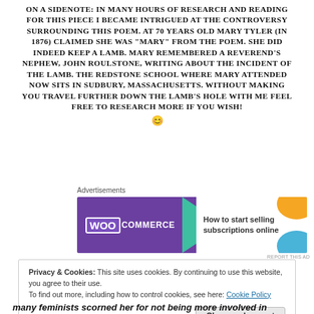ON A SIDENOTE: IN MANY HOURS OF RESEARCH AND READING FOR THIS PIECE I BECAME INTRIGUED AT THE CONTROVERSY SURROUNDING THIS POEM. AT 70 YEARS OLD MARY TYLER (IN 1876) CLAIMED SHE WAS "MARY" FROM THE POEM. SHE DID INDEED KEEP A LAMB. MARY REMEMBERED A REVEREND'S NEPHEW, JOHN ROULSTONE, WRITING ABOUT THE INCIDENT OF THE LAMB. THE REDSTONE SCHOOL WHERE MARY ATTENDED NOW SITS IN SUDBURY, MASSACHUSETTS. WITHOUT MAKING YOU TRAVEL FURTHER DOWN THE LAMB'S HOLE WITH ME FEEL FREE TO RESEARCH MORE IF YOU WISH! 😊
[Figure (screenshot): WooCommerce advertisement banner: 'How to start selling subscriptions online']
Privacy & Cookies: This site uses cookies. By continuing to use this website, you agree to their use. To find out more, including how to control cookies, see here: Cookie Policy
Close and accept
many feminists scorned her for not being more involved in